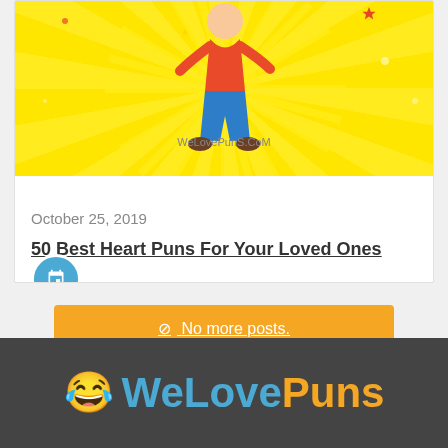[Figure (illustration): Blog post card with yellow background illustration of a jumping child cartoon character, with website text WeLovePuns.CoM visible]
October 25, 2019
50 Best Heart Puns For Your Loved Ones
No more posts.
[Figure (logo): WeLovePuns footer logo with laughing emoji, blue 'WeLove' and orange 'Puns' text on dark grey background]